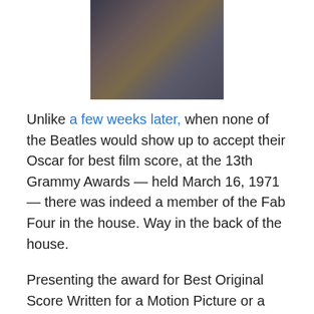[Figure (photo): A photo showing people at what appears to be an awards ceremony, with one person in a blue jacket with a yellow shirt receiving or examining a trophy/award.]
Unlike a few weeks later, when none of the Beatles would show up to accept their Oscar for best film score, at the 13th Grammy Awards — held March 16, 1971 — there was indeed a member of the Fab Four in the house. Way in the back of the house.
Presenting the award for Best Original Score Written for a Motion Picture or a Television Special was none other than a not necessarily sober John Wayne (who was pretty funny with Andy Williams in the intro to the award). Safe to say there was no Beatles connection.
In fact, the award wasn't given to the Beatles at all, but to